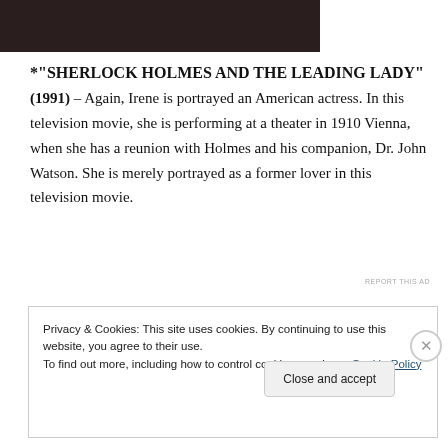[Figure (photo): Dark image strip at the top of the page, partially visible photograph]
*"SHERLOCK HOLMES AND THE LEADING LADY" (1991) – Again, Irene is portrayed an American actress. In this television movie, she is performing at a theater in 1910 Vienna, when she has a reunion with Holmes and his companion, Dr. John Watson. She is merely portrayed as a former lover in this television movie.
[Figure (other): Dark banner ad with text 'reads on the go.' and a circular icon]
REPORT THIS AD
Privacy & Cookies: This site uses cookies. By continuing to use this website, you agree to their use.
To find out more, including how to control cookies, see here: Cookie Policy
Close and accept